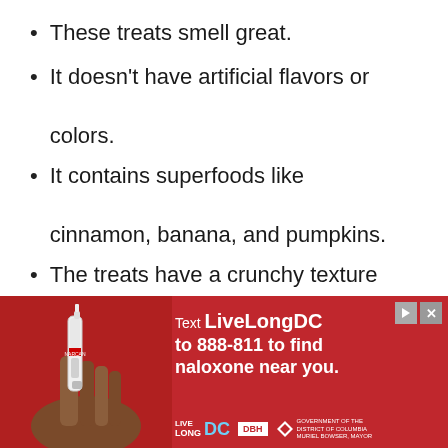These treats smell great.
It doesn't have artificial flavors or colors.
It contains superfoods like cinnamon, banana, and pumpkins.
The treats have a crunchy texture and a distinct flower shape.
The pumpkin in these treats helps keep the calories in check
[Figure (photo): Advertisement banner: Red background with a hand holding a Narcan nasal spray. Text reads 'Text LiveLongDC to 888-811 to find naloxone near you.' with Live Long DC and DBH logos and DC Government branding.]